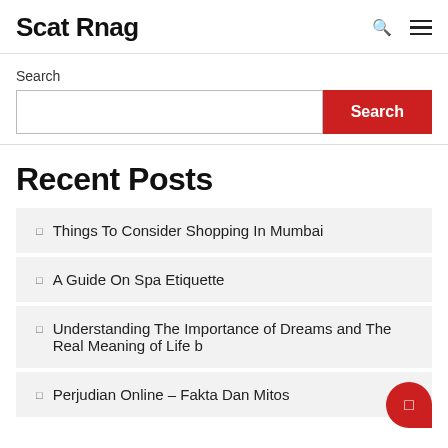Scat Rnag
Search
Recent Posts
Things To Consider Shopping In Mumbai
A Guide On Spa Etiquette
Understanding The Importance of Dreams and The Real Meaning of Life b
Perjudian Online – Fakta Dan Mitos